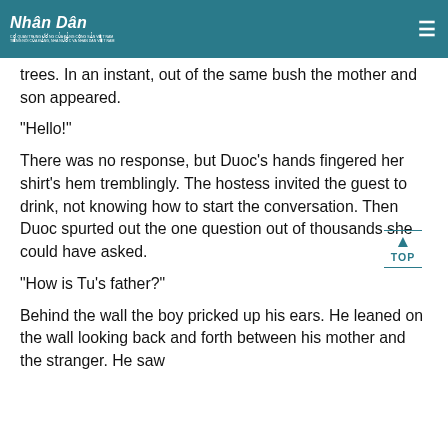Nhân Dân
trees. In an instant, out of the same bush the mother and son appeared.
“Hello!”
There was no response, but Duoc’s hands fingered her shirt’s hem tremblingly. The hostess invited the guest to drink, not knowing how to start the conversation. Then Duoc spurted out the one question out of thousands she could have asked.
“How is Tu’s father?”
Behind the wall the boy pricked up his ears. He leaned on the wall looking back and forth between his mother and the stranger. He saw